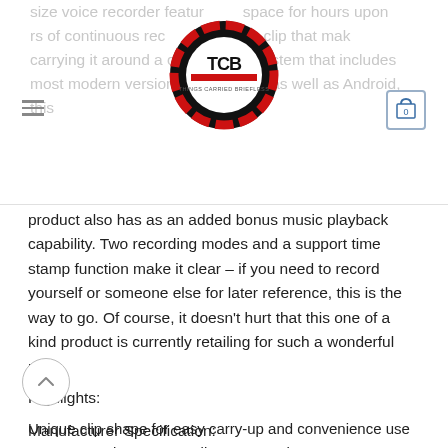size voice recorder features space for hours upon rs of continuous rec a belt clip that mak carrying it around a cinch ort system that includes most modern versions of Windows as well as Android, this
[Figure (logo): TCB circular logo with red and black design]
product also has as an added bonus music playback capability. Two recording modes and a support time stamp function make it clear – if you need to record yourself or someone else for later reference, this is the way to go. Of course, it doesn't hurt that this one of a kind product is currently retailing for such a wonderful price.
Highlights:
Unique clip shape for easy carry-up and convenience use
Support continuous recording up to 25 hours
Voice recording function and MP3 function
Manufacturer Specification: